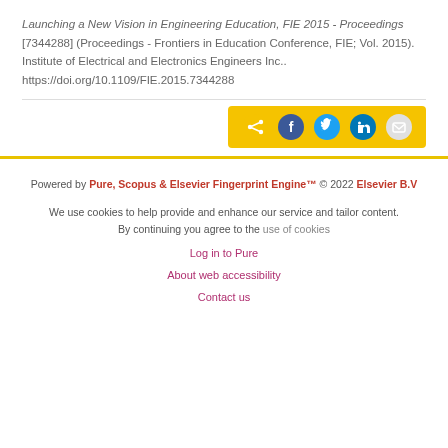Launching a New Vision in Engineering Education, FIE 2015 - Proceedings [7344288] (Proceedings - Frontiers in Education Conference, FIE; Vol. 2015). Institute of Electrical and Electronics Engineers Inc.. https://doi.org/10.1109/FIE.2015.7344288
[Figure (other): Social share button bar with icons for share, Facebook, Twitter, LinkedIn, and email on a yellow/gold background]
Powered by Pure, Scopus & Elsevier Fingerprint Engine™ © 2022 Elsevier B.V
We use cookies to help provide and enhance our service and tailor content. By continuing you agree to the use of cookies
Log in to Pure
About web accessibility
Contact us